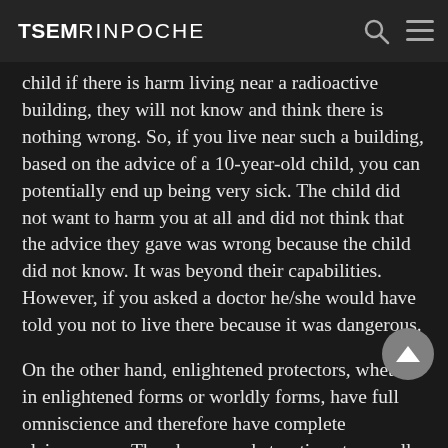TSEM RINPOCHE
child if there is harm living near a radioactive building, they will not know and think there is nothing wrong. So, if you live near such a building, based on the advice of a 10-year-old child, you can potentially end up being very sick. The child did not want to harm you at all and did not think that the advice they gave was wrong because the child did not know. It was beyond their capabilities. However, if you asked a doctor he/she would have told you not to live there because it was dangerous.
On the other hand, enlightened protectors, whether in enlightened forms or worldly forms, have full omniscience and therefore have complete clairvoyance. They have no obstructions to see all happenings (phenomena) in the past, present and future, so can give us perfect advice.
The purpose of providing these answers here are because